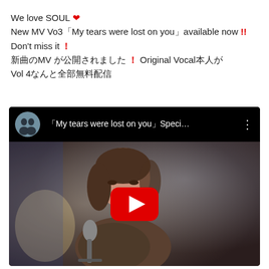We love SOUL ❤
New MV Vo3「My tears were lost on you」available now !!
Don't miss it ！
新曲のMV が公開されました ！ Original Vocal本人が
Vol 4なんと全部無料配信
[Figure (screenshot): YouTube video thumbnail showing a woman singing into a microphone with YouTube play button overlay. Video title shown in top bar: 「My tears were lost on you」Speci...]